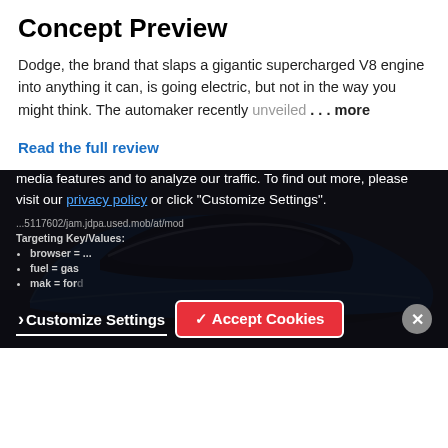Concept Preview
Dodge, the brand that slaps a gigantic supercharged V8 engine into anything it can, is going electric, but not in the way you might think. The automaker recently unveiled . . . more
Read the full review
[Figure (photo): Top-down angled view of a blue and black futuristic Dodge electric concept car on a dark surface]
We use cookies to personalize content and ads, to provide social media features and to analyze our traffic. To find out more, please visit our privacy policy or click "Customize Settings".
...5117602/jam.jdpa.used.mob/at/mod
Targeting Key/Values:
browser = ...
fuel = gas
mak = ford